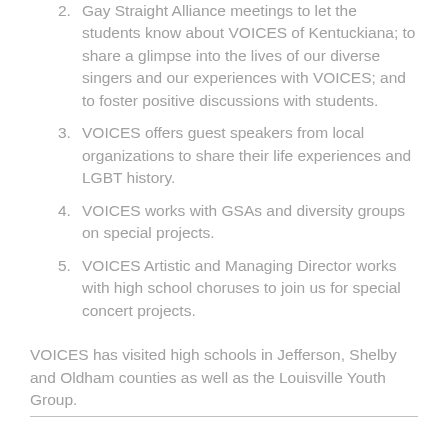VOICES members visit high school Gay Straight Alliance meetings to let the students know about VOICES of Kentuckiana; to share a glimpse into the lives of our diverse singers and our experiences with VOICES; and to foster positive discussions with students.
VOICES offers guest speakers from local organizations to share their life experiences and LGBT history.
VOICES works with GSAs and diversity groups on special projects.
VOICES Artistic and Managing Director works with high school choruses to join us for special concert projects.
VOICES has visited high schools in Jefferson, Shelby and Oldham counties as well as the Louisville Youth Group.